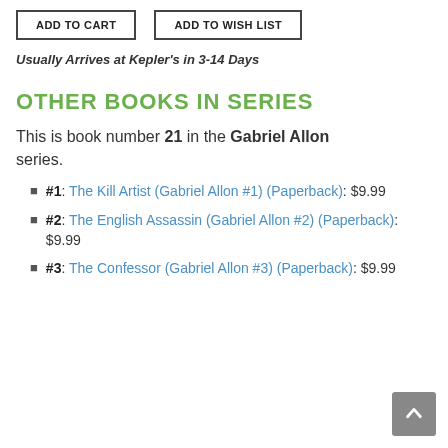ADD TO CART | ADD TO WISH LIST
Usually Arrives at Kepler's in 3-14 Days
OTHER BOOKS IN SERIES
This is book number 21 in the Gabriel Allon series.
#1: The Kill Artist (Gabriel Allon #1) (Paperback): $9.99
#2: The English Assassin (Gabriel Allon #2) (Paperback): $9.99
#3: The Confessor (Gabriel Allon #3) (Paperback): $9.99